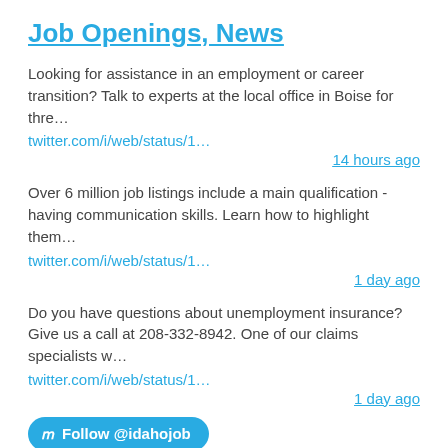Job Openings, News
Looking for assistance in an employment or career transition? Talk to experts at the local office in Boise for thre…
twitter.com/i/web/status/1…
14 hours ago
Over 6 million job listings include a main qualification - having communication skills. Learn how to highlight them…
twitter.com/i/web/status/1…
1 day ago
Do you have questions about unemployment insurance? Give us a call at 208-332-8942. One of our claims specialists w…
twitter.com/i/web/status/1…
1 day ago
Follow @idahojob